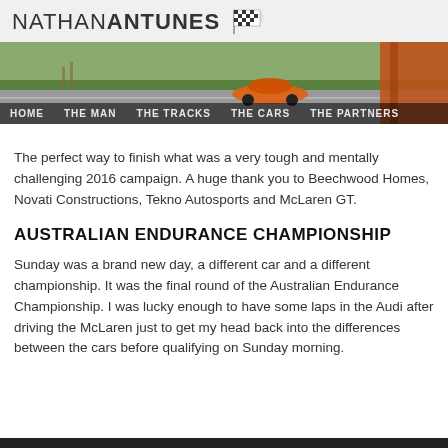NATHAN ANTUNES
[Figure (photo): Hero image showing race track with orange McLaren supercar and navigation bar overlaid with HOME, THE MAN, THE TRACKS, THE CARS, THE PARTNERS menu items]
The perfect way to finish what was a very tough and mentally challenging 2016 campaign. A huge thank you to Beechwood Homes, Novati Constructions, Tekno Autosports and McLaren GT.
AUSTRALIAN ENDURANCE CHAMPIONSHIP
Sunday was a brand new day, a different car and a different championship. It was the final round of the Australian Endurance Championship. I was lucky enough to have some laps in the Audi after driving the McLaren just to get my head back into the differences between the cars before qualifying on Sunday morning.